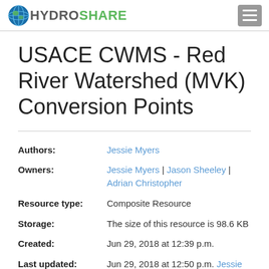HYDROSHARE
USACE CWMS - Red River Watershed (MVK) Conversion Points
| Field | Value |
| --- | --- |
| Authors: | Jessie Myers |
| Owners: | Jessie Myers | Jason Sheeley | Adrian Christopher |
| Resource type: | Composite Resource |
| Storage: | The size of this resource is 98.6 KB |
| Created: | Jun 29, 2018 at 12:39 p.m. |
| Last updated: | Jun 29, 2018 at 12:50 p.m. Jessie Myers |
| Citation: | See how to cite this resource |